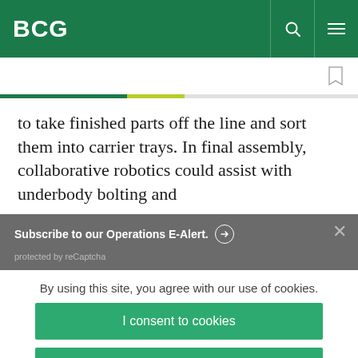BCG
to take finished parts off the line and sort them into carrier trays. In final assembly, collaborative robotics could assist with underbody bolting and
Subscribe to our Operations E-Alert.
protected by reCaptcha
By using this site, you agree with our use of cookies.
I consent to cookies
Want to know more?
Read our Cookie Policy